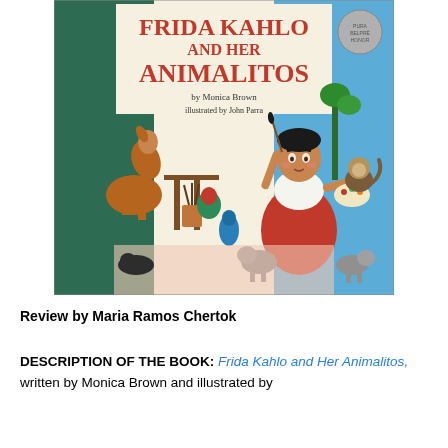[Figure (illustration): Book cover of 'Frida Kahlo and Her Animalitos' by Monica Brown, illustrated by John Parra. Shows a young girl resembling Frida Kahlo holding a painter's palette and brush, surrounded by animals including a deer, parrots, monkeys, and small dogs. An easel with paintbrushes is visible. A Pura Belpre award medal is visible in the top right corner.]
Review by Maria Ramos Chertok
DESCRIPTION OF THE BOOK: Frida Kahlo and Her Animalitos, written by Monica Brown and illustrated by